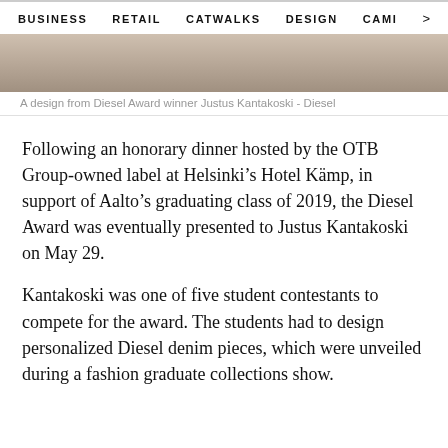BUSINESS   RETAIL   CATWALKS   DESIGN   CAMI  >
[Figure (photo): Cropped fashion photo showing a design from Diesel Award winner Justus Kantakoski]
A design from Diesel Award winner Justus Kantakoski - Diesel
Following an honorary dinner hosted by the OTB Group-owned label at Helsinki's Hotel Kämp, in support of Aalto's graduating class of 2019, the Diesel Award was eventually presented to Justus Kantakoski on May 29.
Kantakoski was one of five student contestants to compete for the award. The students had to design personalized Diesel denim pieces, which were unveiled during a fashion graduate collections show.